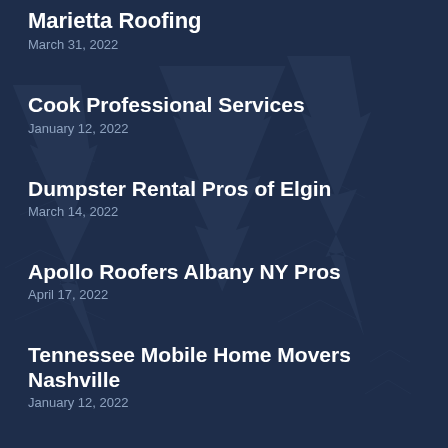Marietta Roofing
March 31, 2022
Cook Professional Services
January 12, 2022
Dumpster Rental Pros of Elgin
March 14, 2022
Apollo Roofers Albany NY Pros
April 17, 2022
Tennessee Mobile Home Movers Nashville
January 12, 2022
1 Solution Detox